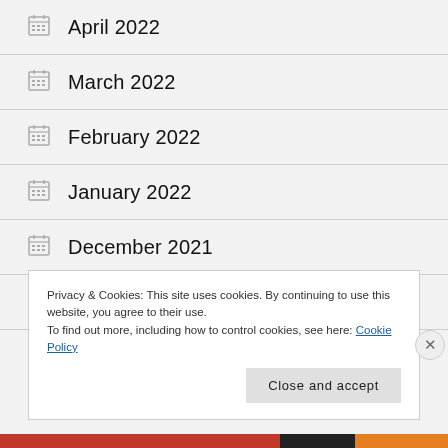April 2022
March 2022
February 2022
January 2022
December 2021
November 2021
Privacy & Cookies: This site uses cookies. By continuing to use this website, you agree to their use.
To find out more, including how to control cookies, see here: Cookie Policy